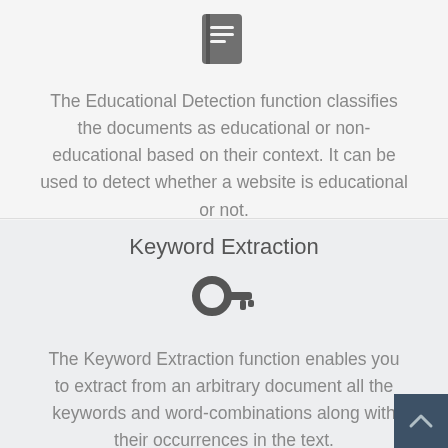[Figure (illustration): Book/notebook icon in dark gray]
The Educational Detection function classifies the documents as educational or non-educational based on their context. It can be used to detect whether a website is educational or not.
Keyword Extraction
[Figure (illustration): Key icon in dark gray]
The Keyword Extraction function enables you to extract from an arbitrary document all the keywords and word-combinations along with their occurrences in the text.